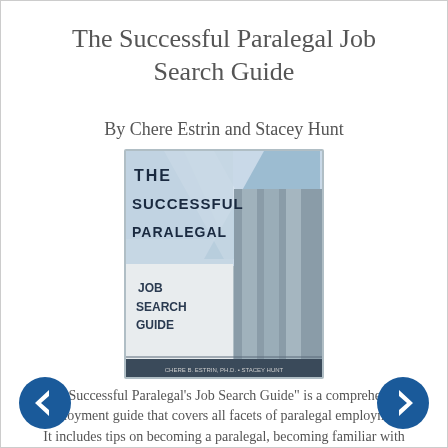The Successful Paralegal Job Search Guide
By Chere Estrin and Stacey Hunt
[Figure (photo): Book cover of 'The Successful Paralegal Job Search Guide' by Chere B. Estrin, Ph.D. and Stacey Hunt, showing title text against a background image of architectural columns and sky.]
"The Successful Paralegal's Job Search Guide" is a comprehensive employment guide that covers all facets of paralegal employment. It includes tips on becoming a paralegal, becoming familiar with the structure of law firms and in-house legal departments, utilizing internships, and entering the marketplace.